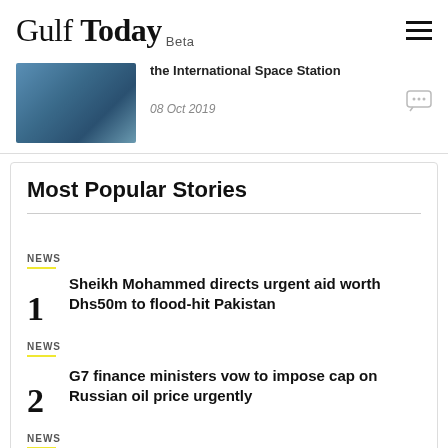Gulf Today Beta
the International Space Station
08 Oct 2019
Most Popular Stories
NEWS
1 Sheikh Mohammed directs urgent aid worth Dhs50m to flood-hit Pakistan
NEWS
2 G7 finance ministers vow to impose cap on Russian oil price urgently
NEWS